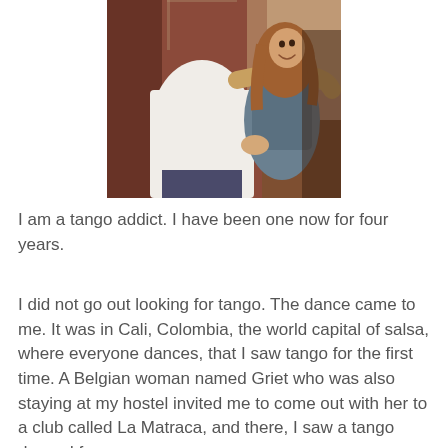[Figure (photo): A couple dancing tango, a woman in a sleeveless top embracing a man in a white shirt, photographed in a warm-lit room with large windows.]
I am a tango addict. I have been one now for four years.
I did not go out looking for tango. The dance came to me. It was in Cali, Colombia, the world capital of salsa, where everyone dances, that I saw tango for the first time. A Belgian woman named Griet who was also staying at my hostel invited me to come out with her to a club called La Matraca, and there, I saw a tango danced for